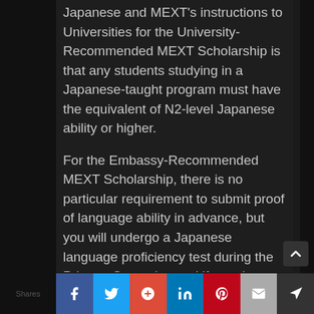Japanese and MEXT's instructions to Universities for the University-Recommended MEXT Scholarship is that any students studying in a Japanese-taught program must have the equivalent of N2-level Japanese ability or higher.
For the Embassy-Recommended MEXT Scholarship, there is no particular requirement to submit proof of language ability in advance, but you will undergo a Japanese language proficiency test during the Primary Screening and if you do not score high enough on that test, you would most likely be eliminated if you
Shares | Facebook | Twitter | Google+ | LinkedIn | Pinterest | Email | (crown icon)